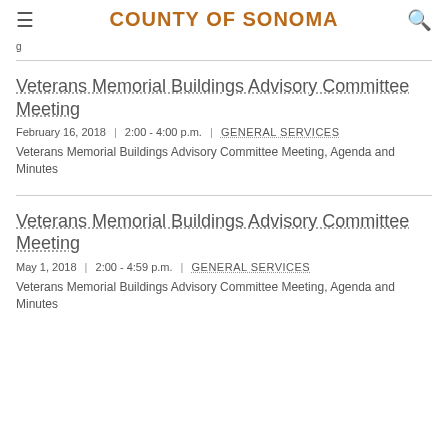COUNTY OF SONOMA
g
Veterans Memorial Buildings Advisory Committee Meeting
February 16, 2018  |  2:00 - 4:00 p.m.  |  GENERAL SERVICES
Veterans Memorial Buildings Advisory Committee Meeting, Agenda and Minutes
Veterans Memorial Buildings Advisory Committee Meeting
May 1, 2018  |  2:00 - 4:59 p.m.  |  GENERAL SERVICES
Veterans Memorial Buildings Advisory Committee Meeting, Agenda and Minutes